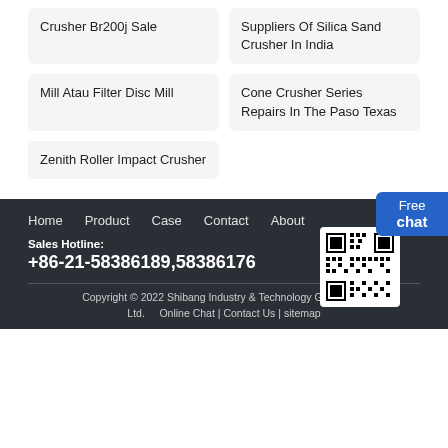Crusher Br200j Sale
Suppliers Of Silica Sand Crusher In India
Mill Atau Filter Disc Mill
Cone Crusher Series Repairs In The Paso Texas
Zenith Roller Impact Crusher
Free chat
Home  Product  Case  Contact  About
Sales Hotline:
+86-21-58386189,58386176
Copyright © 2022 Shibang Industry & Technology Group Co., Ltd.  Online Chat | Contact Us | sitemap